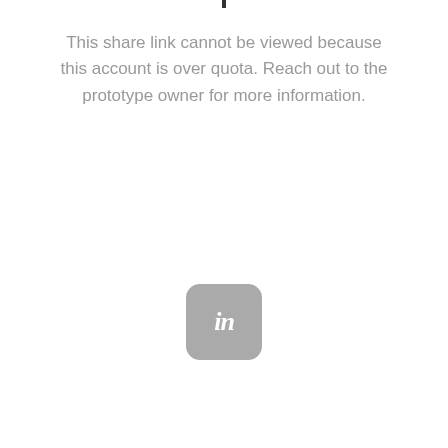This share link cannot be viewed because this account is over quota. Reach out to the prototype owner for more information.
[Figure (logo): InVision 'in' logo — gray rounded square with italic white 'in' lettering]